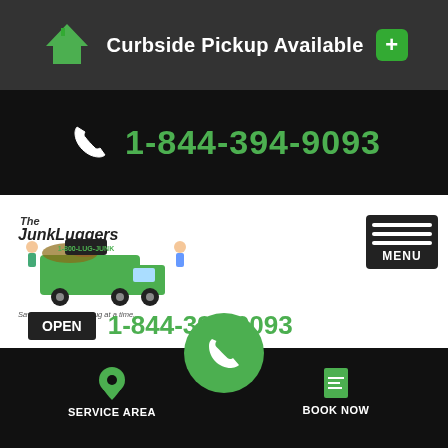Curbside Pickup Available
1-844-394-9093
[Figure (logo): The Junkluggers logo with truck and characters, tagline: Saving the world, one lug at a time.]
OPEN 1-844-394-9093
MENU
Home » About Us » Reviews » Review from Trina
JOB REVIEW FROM TRINA IN
SERVICE AREA   BOOK NOW